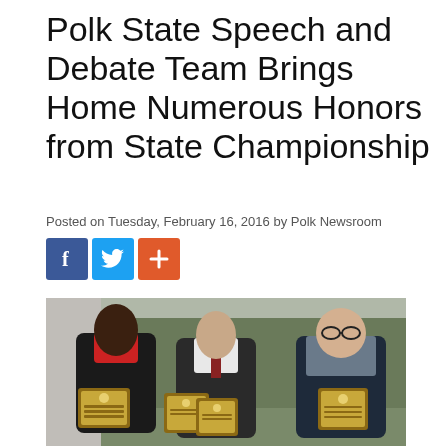Polk State Speech and Debate Team Brings Home Numerous Honors from State Championship
Posted on Tuesday, February 16, 2016 by Polk Newsroom
[Figure (other): Social share buttons: Facebook (blue), Twitter (light blue), and a red plus/share button]
[Figure (photo): Three young men standing outdoors holding award plaques. The man on the left wears a black jacket and red shirt, the man in the middle wears a suit with a tie, and the man on the right wears a dark blazer and glasses. Trees are visible in the background.]